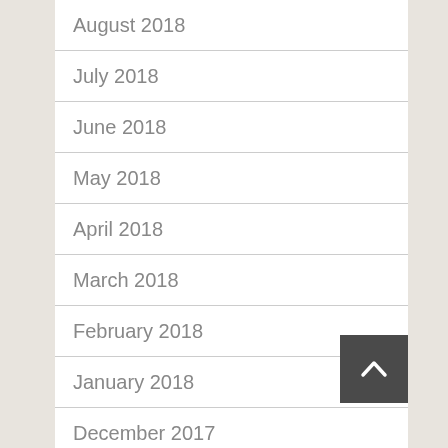August 2018
July 2018
June 2018
May 2018
April 2018
March 2018
February 2018
January 2018
December 2017
November 2017
October 2017